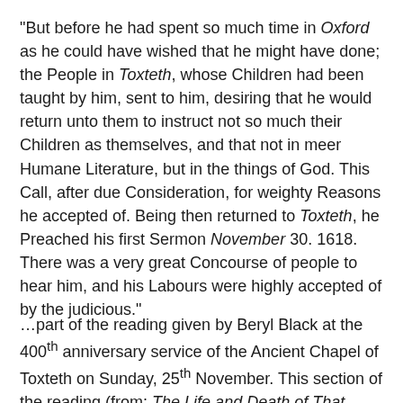“But before he had spent so much time in Oxford as he could have wished that he might have done; the People in Toxteth, whose Children had been taught by him, sent to him, desiring that he would return unto them to instruct not so much their Children as themselves, and that not in meer Humane Literature, but in the things of God. This Call, after due Consideration, for weighty Reasons he accepted of. Being then returned to Toxteth, he Preached his first Sermon November 30. 1618. There was a very great Concourse of people to hear him, and his Labours were highly accepted of by the judicious.”
…part of the reading given by Beryl Black at the 400th anniversary service of the Ancient Chapel of Toxteth on Sunday, 25th November. This section of the reading (from: The Life and Death of That Reverend Man of GOD, Mr.